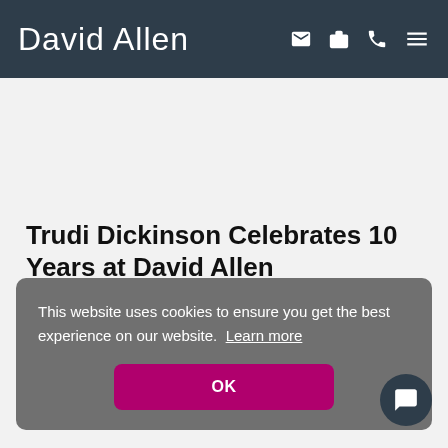David Allen
Trudi Dickinson Celebrates 10 Years at David Allen
15 June 2022
This website uses cookies to ensure you get the best experience on our website. Learn more
OK